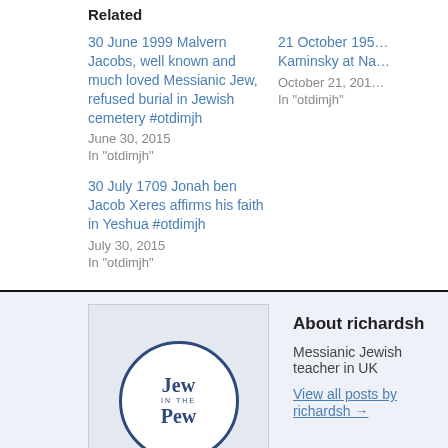Related
30 June 1999 Malvern Jacobs, well known and much loved Messianic Jew, refused burial in Jewish cemetery #otdimjh
June 30, 2015
In "otdimjh"
21 October 195... Kaminsky at Na...
October 21, 201...
In "otdimjh"
30 July 1709 Jonah ben Jacob Xeres affirms his faith in Yeshua #otdimjh
July 30, 2015
In "otdimjh"
About richardsh
Messianic Jewish teacher in UK
View all posts by richardsh →
This entry was posted in otdimjh and tagged max jacob, modigliani, otdimjh,